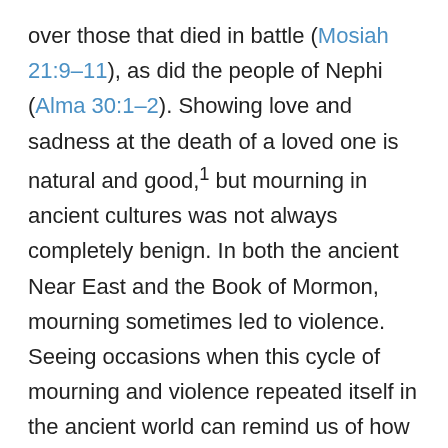over those that died in battle (Mosiah 21:9–11), as did the people of Nephi (Alma 30:1–2). Showing love and sadness at the death of a loved one is natural and good,¹ but mourning in ancient cultures was not always completely benign. In both the ancient Near East and the Book of Mormon, mourning sometimes led to violence. Seeing occasions when this cycle of mourning and violence repeated itself in the ancient world can remind us of how important it is to stop the cycle of violence and revenge that is still too common in the world today.
One example of the ancient tendency for mourning to turn into calls for vengeance is found throughout the Old Testament when prophets pronounced